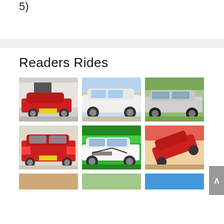5)
Readers Rides
[Figure (photo): Grid of 6 car photos showing reader vehicles: red VW Golf (front), white SUV side view, silver Toyota side view, red VW Golf rear, white VW Polo with graphics, red car at angle. Partial third row visible at bottom.]